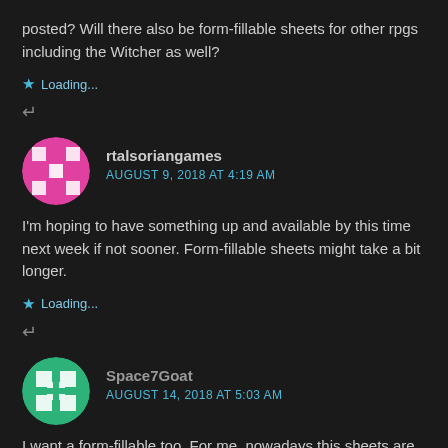posted? Will there also be form-fillable sheets for other rpgs including the Witcher as well?
Loading...
↩
rtalsoriangames
AUGUST 9, 2018 AT 4:19 AM
I'm hoping to have something up and available by this time next week if not sooner. Form-fillable sheets might take a bit longer.
Loading...
↩
Space7Goat
AUGUST 14, 2018 AT 5:03 AM
I want a form-fillable too. For me, nowadays this sheets are